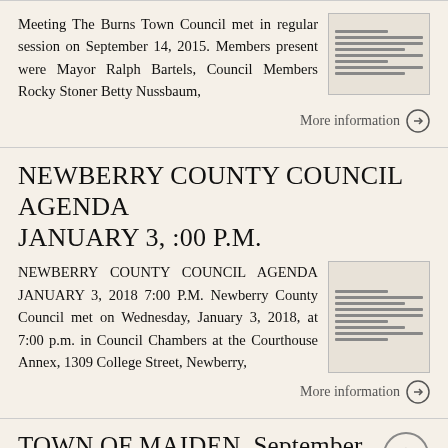Meeting The Burns Town Council met in regular session on September 14, 2015. Members present were Mayor Ralph Bartels, Council Members Rocky Stoner Betty Nussbaum,
More information →
NEWBERRY COUNTY COUNCIL AGENDA JANUARY 3, :00 P.M.
NEWBERRY COUNTY COUNCIL AGENDA JANUARY 3, 2018 7:00 P.M. Newberry County Council met on Wednesday, January 3, 2018, at 7:00 p.m. in Council Chambers at the Courthouse Annex, 1309 College Street, Newberry,
More information →
TOWN OF MAIDEN. September 18, 2017 MINUTES OF REGULAR MEETING